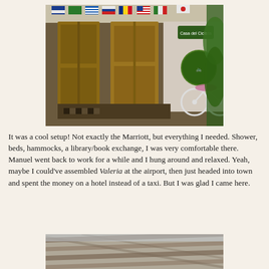[Figure (photo): Exterior of a guesthouse or hostel with wooden doors, colorful international flags hanging overhead, a white bicycle parked outside, and a green circular sign on the wall. Appears to be a cyclist-friendly accommodation.]
It was a cool setup! Not exactly the Marriott, but everything I needed. Shower, beds, hammocks, a library/book exchange, I was very comfortable there. Manuel went back to work for a while and I hung around and relaxed. Yeah, maybe I could've assembled Valeria at the airport, then just headed into town and spent the money on a hotel instead of a taxi. But I was glad I came here.
[Figure (photo): Partial view of a rustic wooden ceiling or roof structure, photographed from below at an angle.]